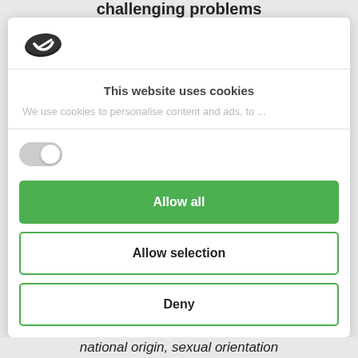challenging problems
[Figure (logo): Cookiebot logo - green oval with white checkmark]
This website uses cookies
We use cookies to personalise content and ads, to ...
[Figure (other): Toggle switch in off/unchecked state]
Allow all
Allow selection
Deny
Powered by Cookiebot by Usercentrics
national origin, sexual orientation